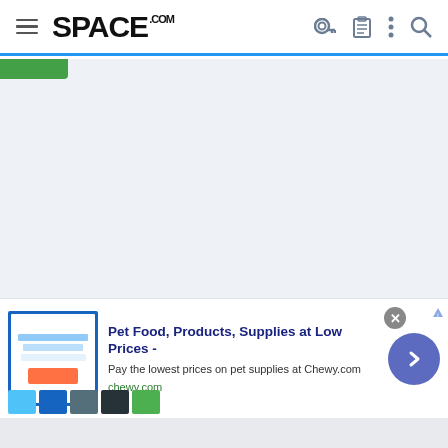SPACE.com navigation bar
[Figure (screenshot): Space.com website header with hamburger menu, SPACE.com logo, and navigation icons (key, clipboard, dots, search)]
[Figure (screenshot): Main content area with light blue-grey background, mostly blank loading area]
[Figure (advertisement): Advertisement for Chewy.com pet supplies: 'Pet Food, Products, Supplies at Low Prices - Pay the lowest prices on pet supplies at Chewy.com']